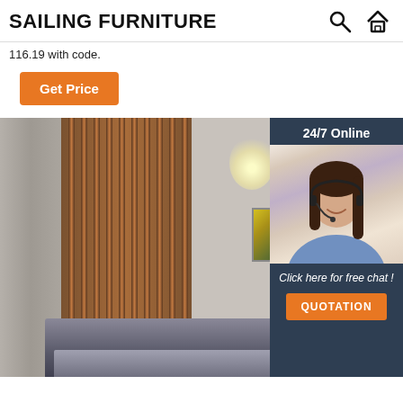SAILING FURNITURE
116.19 with code.
Get Price
[Figure (photo): Interior room photo showing vertical wood slats panel, grey curtains, wall-mounted lights, abstract painting, and a bed in the foreground with a chat widget overlaid on the right side showing a customer service agent with headset.]
24/7 Online
Click here for free chat !
QUOTATION